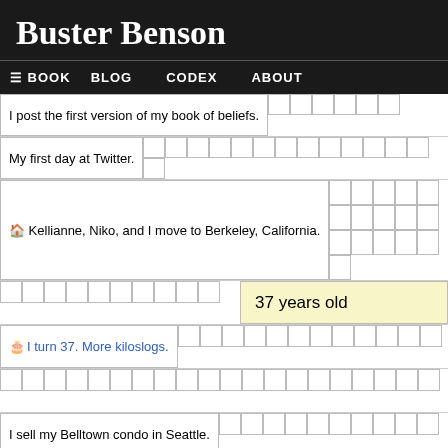Buster Benson
☰ BOOK   BLOG   CODEX   ABOUT
I post the first version of my book of beliefs.
My first day at Twitter.
🏠 Kellianne, Niko, and I move to Berkeley, California.
37 years old
🎂 I turn 37. More kiloslogs.
I sell my Belltown condo in Seattle.
♥ I meet Rodney, my brother. We found each other through 2…